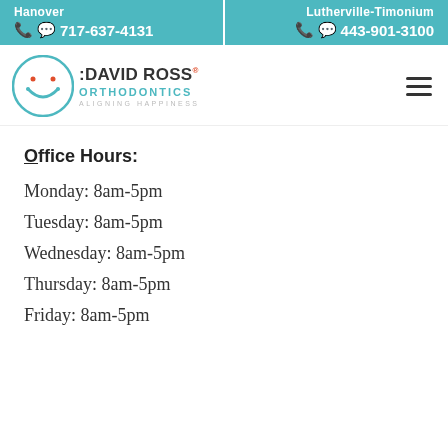Hanover | 717-637-4131 | Lutherville-Timonium | 443-901-3100
[Figure (logo): David Ross Orthodontics logo with smiley face circle and tagline Aligning Happiness]
Office Hours:
Monday: 8am-5pm
Tuesday: 8am-5pm
Wednesday: 8am-5pm
Thursday: 8am-5pm
Friday: 8am-5pm